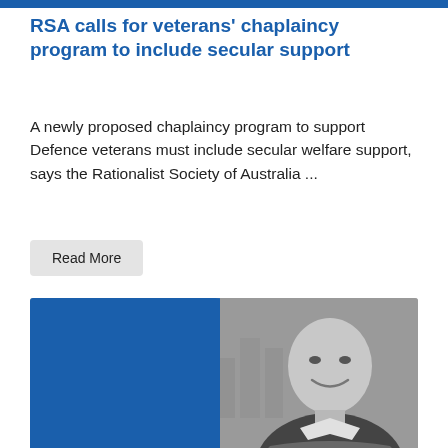RSA calls for veterans' chaplaincy program to include secular support
A newly proposed chaplaincy program to support Defence veterans must include secular welfare support, says the Rationalist Society of Australia ...
Read More
[Figure (photo): Black and white photo of a man wearing a mayoral chain, smiling, with a cityscape background, overlaid with a blue curved shape on the left side]
RSA questions Gold Coast mayor over appointment of 'spiritual advisor'